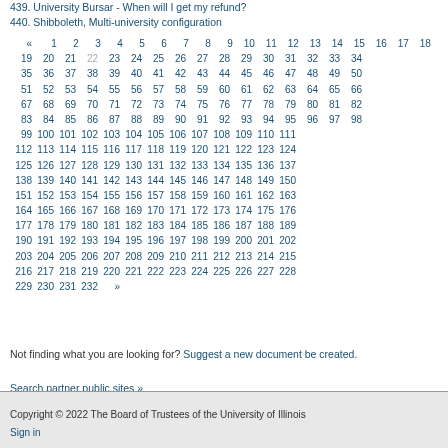439. University Bursar - When will I get my refund?
440. Shibboleth, Multi-university configuration
« 1 2 3 4 5 6 7 8 9 10 11 12 13 14 15 16 17 18 19 20 21 22 23 24 25 26 27 28 29 30 31 32 33 34 35 36 37 38 39 40 41 42 43 44 45 46 47 48 49 50 51 52 53 54 55 56 57 58 59 60 61 62 63 64 65 66 67 68 69 70 71 72 73 74 75 76 77 78 79 80 81 82 83 84 85 86 87 88 89 90 91 92 93 94 95 96 97 98 99 100 101 102 103 104 105 106 107 108 109 110 111 112 113 114 115 116 117 118 119 120 121 122 123 124 125 126 127 128 129 130 131 132 133 134 135 136 137 138 139 140 141 142 143 144 145 146 147 148 149 150 151 152 153 154 155 156 157 158 159 160 161 162 163 164 165 166 167 168 169 170 171 172 173 174 175 176 177 178 179 180 181 182 183 184 185 186 187 188 189 190 191 192 193 194 195 196 197 198 199 200 201 202 203 204 205 206 207 208 209 210 211 212 213 214 215 216 217 218 219 220 221 222 223 224 225 226 227 228 229 230 231 232 »
Not finding what you are looking for? Suggest a new document be created.
Search partner public sites »
Copyright © 2022 The Board of Trustees of the University of Illinois
Sign in